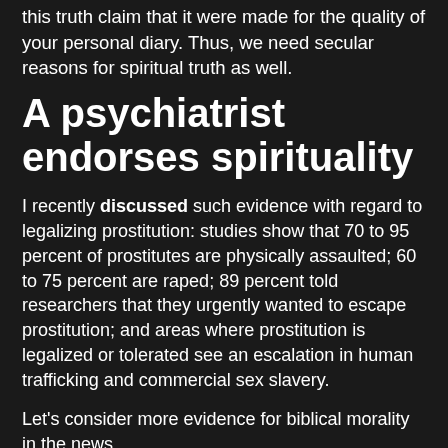this truth claim that it were made for the quality of your personal diary. Thus, we need secular reasons for spiritual truth as well.
A psychiatrist endorses spirituality
I recently discussed such evidence with regard to legalizing prostitution: studies show that 70 to 95 percent of prostitutes are physically assaulted; 60 to 75 percent are raped; 89 percent told researchers that they urgently wanted to escape prostitution; and areas where prostitution is legalized or tolerated see an escalation in human trafficking and commercial sex slavery.
Let’s consider more evidence for biblical morality in the news.